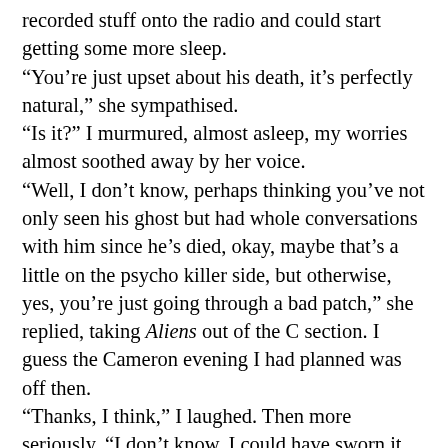recorded stuff onto the radio and could start getting some more sleep. “You’re just upset about his death, it’s perfectly natural,” she sympathised. “Is it?” I murmured, almost asleep, my worries almost soothed away by her voice. “Well, I don’t know, perhaps thinking you’ve not only seen his ghost but had whole conversations with him since he’s died, okay, maybe that’s a little on the psycho killer side, but otherwise, yes, you’re just going through a bad patch,” she replied, taking Aliens out of the C section. I guess the Cameron evening I had planned was off then. “Thanks, I think,” I laughed. Then more seriously, “I don’t know, I could have sworn it was him. If I was imagining him, why did he say all that stuff? Like quoting Shakespeare. You know I’m no good at that stuff, why would I have him saying that?” “Well,” she said, turning to look at me, “maybe it was all subconscious, you know, if it’s one of his tragedies, all murder and suicide and stuff, maybe it struck a cord